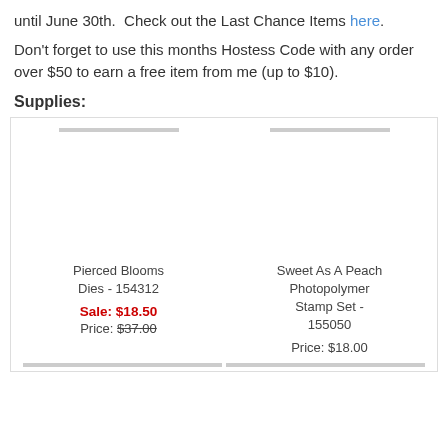until June 30th.  Check out the Last Chance Items here.
Don't forget to use this months Hostess Code with any order over $50 to earn a free item from me (up to $10).
Supplies:
[Figure (other): Product grid showing two items: Pierced Blooms Dies - 154312 (Sale: $18.50, Price: $37.00 struck through) and Sweet As A Peach Photopolymer Stamp Set - 155050 (Price: $18.00), each with a placeholder image area and gray bar at top and bottom.]